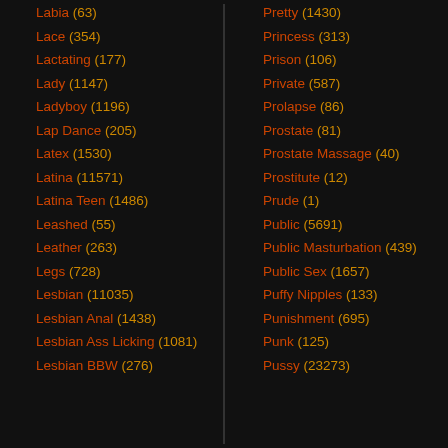Labia (63)
Lace (354)
Lactating (177)
Lady (1147)
Ladyboy (1196)
Lap Dance (205)
Latex (1530)
Latina (11571)
Latina Teen (1486)
Leashed (55)
Leather (263)
Legs (728)
Lesbian (11035)
Lesbian Anal (1438)
Lesbian Ass Licking (1081)
Lesbian BBW (276)
Pretty (1430)
Princess (313)
Prison (106)
Private (587)
Prolapse (86)
Prostate (81)
Prostate Massage (40)
Prostitute (12)
Prude (1)
Public (5691)
Public Masturbation (439)
Public Sex (1657)
Puffy Nipples (133)
Punishment (695)
Punk (125)
Pussy (23273)